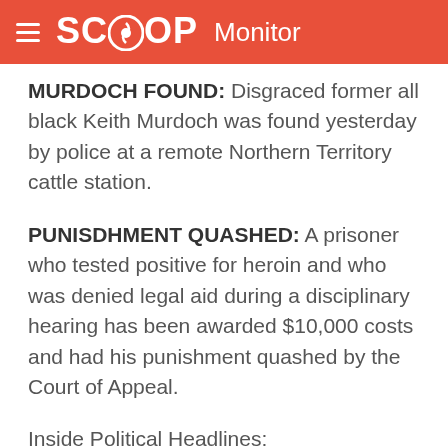SCOOP Monitor
MURDOCH FOUND: Disgraced former all black Keith Murdoch was found yesterday by police at a remote Northern Territory cattle station.
PUNISDHMENT QUASHED: A prisoner who tested positive for heroin and who was denied legal aid during a disciplinary hearing has been awarded $10,000 costs and had his punishment quashed by the Court of Appeal.
Inside Political Headlines:
- Dougherty report cost more than $100,000;
- Ban alcohol advertising, say greens;